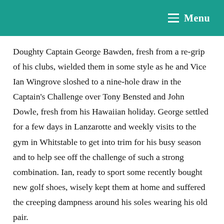Menu
Doughty Captain George Bawden, fresh from a re-grip of his clubs, wielded them in some style as he and Vice Ian Wingrove sloshed to a nine-hole draw in the Captain's Challenge over Tony Bensted and John Dowle, fresh from his Hawaiian holiday. George settled for a few days in Lanzarotte and weekly visits to the gym in Whitstable to get into trim for his busy season and to help see off the challenge of such a strong combination. Ian, ready to sport some recently bought new golf shoes, wisely kept them at home and suffered the creeping dampness around his soles wearing his old pair.
Only three men endured 18 holes and are to be applauded, if not pitied. The slashing rain held up the two dozen or so